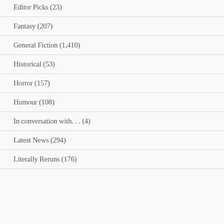Editor Picks (23)
Fantasy (207)
General Fiction (1,410)
Historical (53)
Horror (157)
Humour (108)
In conversation with. . . (4)
Latest News (294)
Literally Reruns (176)